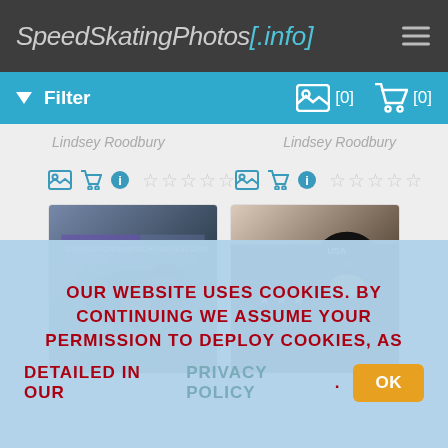SpeedSkatingPhotos[.info]
Filter [0] [0]
Lindsey Roodbury
Lindsey Roodbury
[Figure (photo): Speed skater in black suit at championship event with purple banner background]
[Figure (photo): Speed skater in black USA suit with stars, wearing goggles, leaning forward in racing position]
OUR WEBSITE USES COOKIES. BY CONTINUING WE ASSUME YOUR PERMISSION TO DEPLOY COOKIES, AS DETAILED IN OUR PRIVACY POLICY. OK